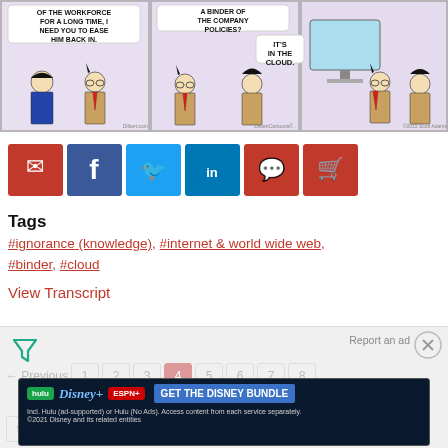[Figure (illustration): Three-panel Dilbert comic strip. Panel 1: Boss says 'OF THE WORKFORCE FOR A LONG TIME, I NEED YOU TO EASE HIM BACK IN.' Panel 2: Character asks 'A BINDER OF THE COMPANY POLICIES?' another replies 'IT'S IN THE CLOUD.' Panel 3: Characters stand near a monitor/screen.]
[Figure (infographic): Social sharing buttons row: email (red), Facebook (blue), Twitter (light blue), LinkedIn (blue), comment (red), cart (red)]
Tags
#ignorance (knowledge), #internet & world wide web, #binder, #cloud
View Transcript
[Figure (screenshot): Advertisement area with filter icon, close icon, Report an ad link, pagination numbers (Previous, 1, 2, 3, 4 highlighted, 5, 6, 7, 8, 9, 10...), and Disney Bundle banner ad (Hulu, Disney+, ESPN+ - GET THE DISNEY BUNDLE)]